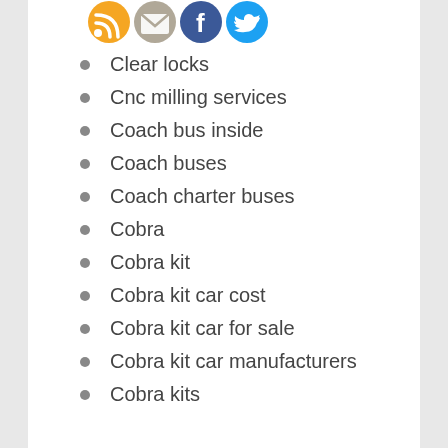[Figure (infographic): Four social media/sharing icons: RSS (orange), Email (grey/tan), Facebook (blue), Twitter (light blue)]
Clear locks
Cnc milling services
Coach bus inside
Coach buses
Coach charter buses
Cobra
Cobra kit
Cobra kit car cost
Cobra kit car for sale
Cobra kit car manufacturers
Cobra kits